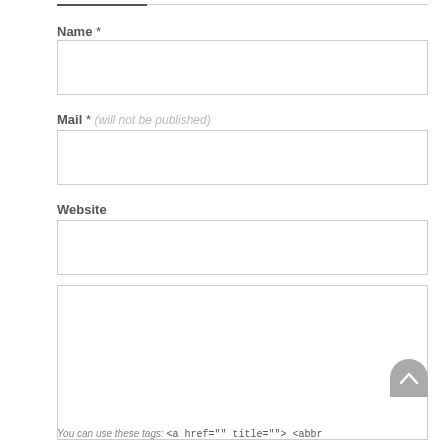Name *
[Figure (other): Empty text input field for Name]
Mail * (will not be published)
[Figure (other): Empty text input field for Mail]
Website
[Figure (other): Empty text input field for Website]
[Figure (other): Large empty textarea for comment input]
You can use these tags: <a href="" title=""> <abbr